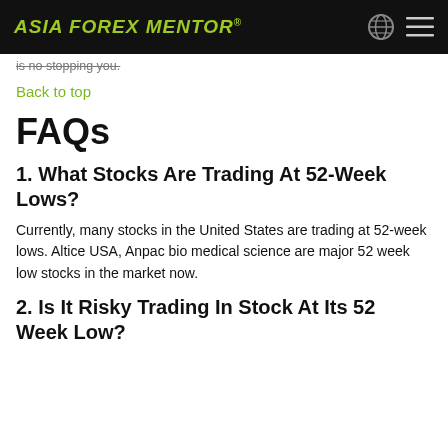ASIA FOREX MENTOR®
is no stopping you.
Back to top
FAQs
1. What Stocks Are Trading At 52-Week Lows?
Currently, many stocks in the United States are trading at 52-week lows. Altice USA, Anpac bio medical science are major 52 week low stocks in the market now.
2. Is It Risky Trading In Stock At Its 52 Week Low?